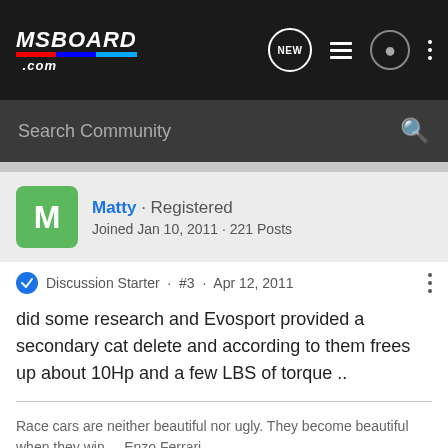[Figure (logo): MSBoard.com logo in white italic text on dark background with red/blue stripe]
Search Community
Matty · Registered
Joined Jan 10, 2011 · 221 Posts
Discussion Starter · #3 · Apr 12, 2011
did some research and Evosport provided a secondary cat delete and according to them frees up about 10Hp and a few LBS of torque ..
Race cars are neither beautiful nor ugly. They become beautiful when they win. – Enzo Ferrari